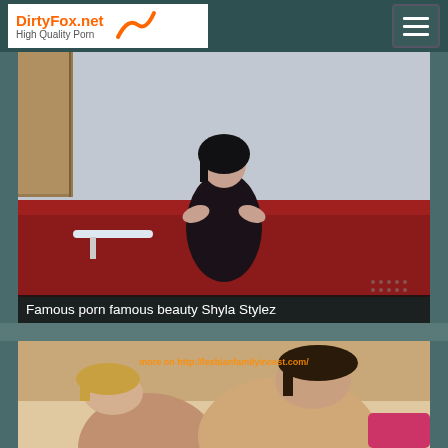DirtyFox.net High Quality Porn
[Figure (photo): Video thumbnail of a woman in dark clothing sitting on a red couch]
Famous porn famous beauty Shyla Stylez
[Figure (photo): Video thumbnail showing two women, with watermark text 'more on http://lesbianfamilyincest.com/']